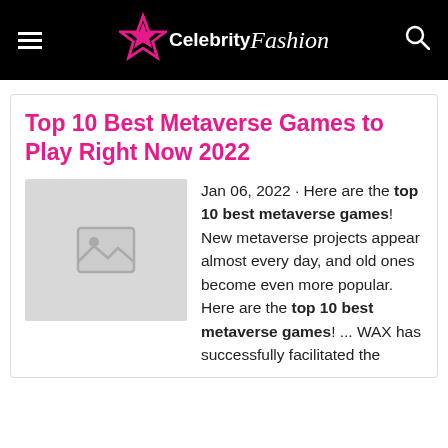CelebrityFashion
Top 10 Best Metaverse Games to Play Right Now 2022
[Figure (photo): Placeholder image thumbnail with mountain/photo icon on grey background]
Jan 06, 2022 · Here are the top 10 best metaverse games! New metaverse projects appear almost every day, and old ones become even more popular. Here are the top 10 best metaverse games! ... WAX has successfully facilitated the